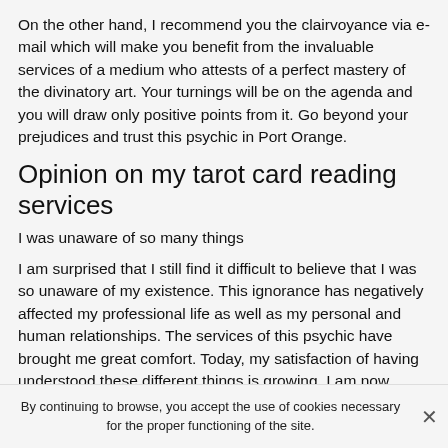On the other hand, I recommend you the clairvoyance via e-mail which will make you benefit from the invaluable services of a medium who attests of a perfect mastery of the divinatory art. Your turnings will be on the agenda and you will draw only positive points from it. Go beyond your prejudices and trust this psychic in Port Orange.
Opinion on my tarot card reading services
I was unaware of so many things
I am surprised that I still find it difficult to believe that I was so unaware of my existence. This ignorance has negatively affected my professional life as well as my personal and human relationships. The services of this psychic have brought me great comfort. Today, my satisfaction of having understood these different things is growing. I am now better able to cope with certain events
By continuing to browse, you accept the use of cookies necessary for the proper functioning of the site. ×